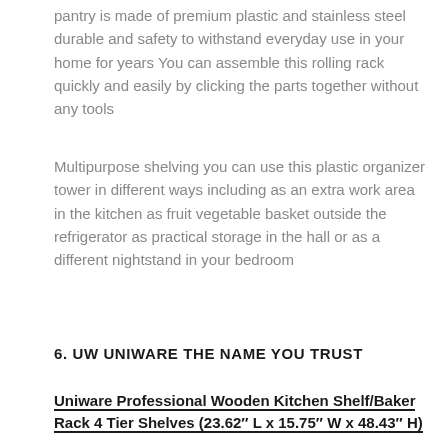pantry is made of premium plastic and stainless steel durable and safety to withstand everyday use in your home for years You can assemble this rolling rack quickly and easily by clicking the parts together without any tools
Multipurpose shelving you can use this plastic organizer tower in different ways including as an extra work area in the kitchen as fruit vegetable basket outside the refrigerator as practical storage in the hall or as a different nightstand in your bedroom
6. UW UNIWARE THE NAME YOU TRUST
Uniware Professional Wooden Kitchen Shelf/Baker Rack 4 Tier Shelves (23.62″ L x 15.75″ W x 48.43″ H)